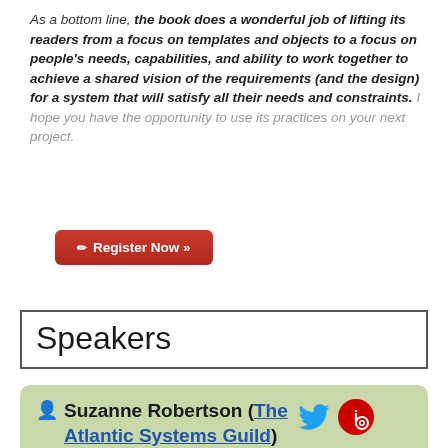As a bottom line, the book does a wonderful job of lifting its readers from a focus on templates and objects to a focus on people's needs, capabilities, and ability to work together to achieve a shared vision of the requirements (and the design) for a system that will satisfy all their needs and constraints. I hope you have the opportunity to use its practices on your next project.
[Figure (other): Red 'Register Now »' button with pencil icon]
Speakers
Suzanne Robertson (The Atlantic Systems Guild) [twitter icon] [infoq icon]